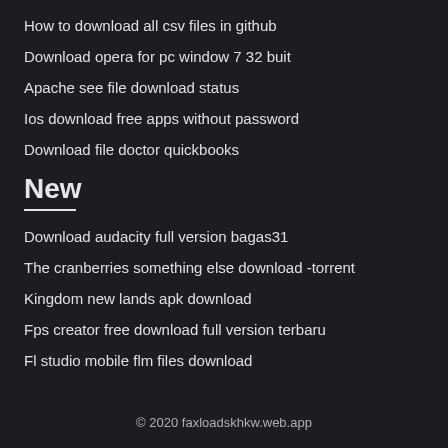How to download all csv files in github
Download opera for pc window 7 32 buit
Apache see file download status
Ios download free apps without password
Download file doctor quickbooks
New
Download audacity full version bagas31
The cranberries something else download -torrent
Kingdom new lands apk download
Fps creator free download full version terbaru
Fl studio mobile flm files download
© 2020 faxloadskhkw.web.app